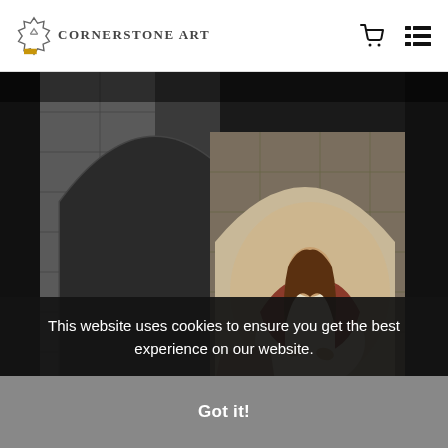Cornerstone Art
[Figure (illustration): Religious painting depicting a figure resembling Jesus Christ kneeling under a stone archway, reaching out to another person in a dimly lit stone corridor]
This website uses cookies to ensure you get the best experience on our website.
Got it!